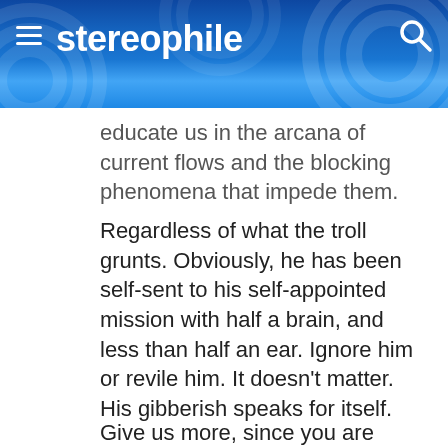stereophile
educate us in the arcana of current flows and the blocking phenomena that impede them.
Regardless of what the troll grunts. Obviously, he has been self-sent to his self-appointed mission with half a brain, and less than half an ear. Ignore him or revile him. It doesn't matter. His gibberish speaks for itself.
Give us more, since you are obviously up on the subject.